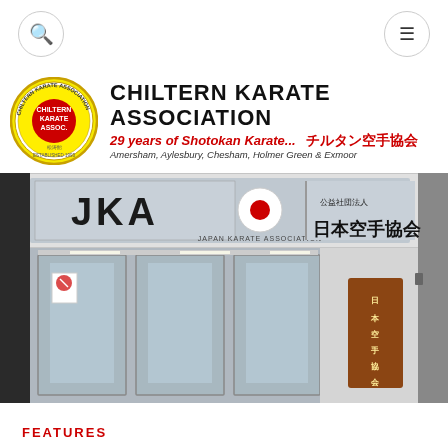Search and Menu icons
[Figure (logo): Chiltern Karate Association banner with circular logo on left, organization name CHILTERN KARATE ASSOCIATION in large bold black text, subtitle '29 years of Shotokan Karate...' in red italic, Japanese text チルタン空手協会, and locations: Amersham, Aylesbury, Chesham, Holmer Green & Exmoor]
[Figure (photo): JKA Japan Karate Association building entrance. Sign reads 'JKA' in large letters and 'Japan Karate Association' with Japanese flag logo, and 日本空手協会 (Nihon Karate Kyokai) in kanji. Glass door entrance with signage.]
FEATURES